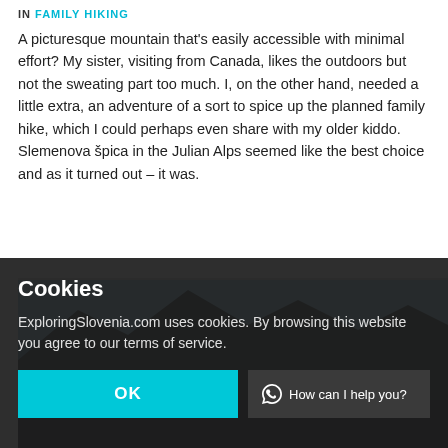IN FAMILY HIKING
A picturesque mountain that’s easily accessible with minimal effort? My sister, visiting from Canada, likes the outdoors but not the sweating part too much. I, on the other hand, needed a little extra, an adventure of a sort to spice up the planned family hike, which I could perhaps even share with my older kiddo. Slemenova špica in the Julian Alps seemed like the best choice and as it turned out – it was.
[Figure (photo): Mountain scene with blue sky in background, dark rocky foreground]
Cookies
ExploringSlovenia.com uses cookies. By browsing this website you agree to our terms of service.
OK
How can I help you?